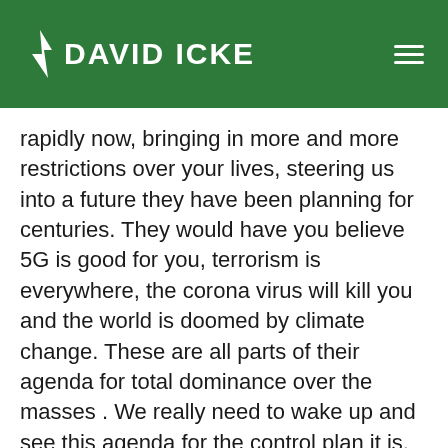DAVID ICKE
rapidly now, bringing in more and more restrictions over your lives, steering us into a future they have been planning for centuries. They would have you believe 5G is good for you, terrorism is everywhere, the corona virus will kill you and the world is doomed by climate change. These are all parts of their agenda for total dominance over the masses . We really need to wake up and see this agenda for the control plan it is.
Now is the time to rise up and say no, to fight back against the few and build to new future free from them and their